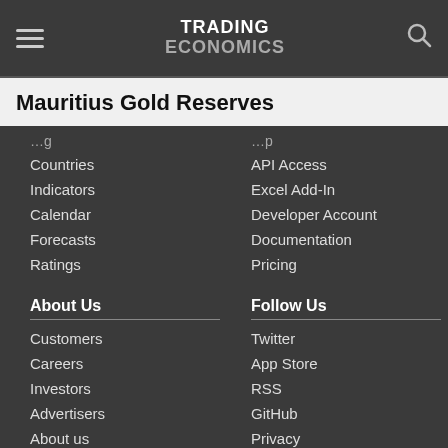TRADING ECONOMICS
Mauritius Gold Reserves
Countries
Indicators
Calendar
Forecasts
Ratings
API Access
Excel Add-In
Developer Account
Documentation
Pricing
About Us
Customers
Careers
Investors
Advertisers
About us
Follow Us
Twitter
App Store
RSS
GitHub
Privacy
Copyright ©2022 TRADING ECONOMICS
All Rights Reserved